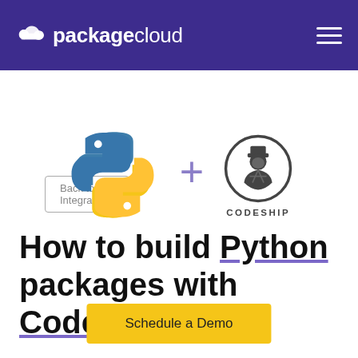packagecloud
Back to Integrations
[Figure (logo): Python logo and Codeship logo side by side with a plus sign between them]
How to build Python packages with Codeship.
Schedule a Demo